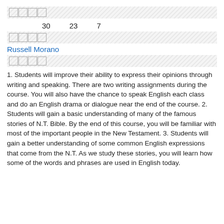□□□□
30    23    7
□□□□
Russell Morano
□□□□
1. Students will improve their ability to express their opinions through writing and speaking. There are two writing assignments during the course. You will also have the chance to speak English each class and do an English drama or dialogue near the end of the course. 2. Students will gain a basic understanding of many of the famous stories of N.T. Bible. By the end of this course, you will be familiar with most of the important people in the New Testament. 3. Students will gain a better understanding of some common English expressions that come from the N.T. As we study these stories, you will learn how some of the words and phrases are used in English today.